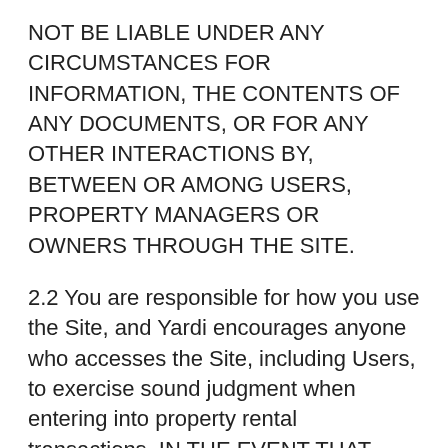NOT BE LIABLE UNDER ANY CIRCUMSTANCES FOR INFORMATION, THE CONTENTS OF ANY DOCUMENTS, OR FOR ANY OTHER INTERACTIONS BY, BETWEEN OR AMONG USERS, PROPERTY MANAGERS OR OWNERS THROUGH THE SITE.
2.2 You are responsible for how you use the Site, and Yardi encourages anyone who accesses the Site, including Users, to exercise sound judgment when entering into property rental transactions. IN THE EVENT THAT YOU HAVE A DISPUTE WITH A PROPERTY MANAGER OR OWNER, YOU RELEASE YARDI FROM ANY CLAIMS, DEMANDS AND DAMAGES OF ALL KINDS AND